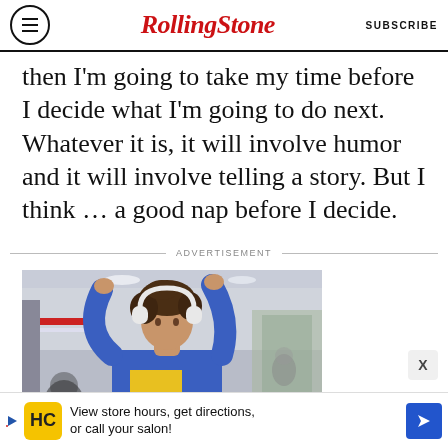RollingStone | SUBSCRIBE
then I'm going to take my time before I decide what I'm going to do next. Whatever it is, it will involve humor and it will involve telling a story. But I think … a good nap before I decide.
ADVERTISEMENT
[Figure (photo): Young woman with curly hair wearing white headphones and a blue denim jacket over a yellow top, stretching arms overhead on a subway/train car]
[Figure (infographic): Bottom banner advertisement: HC salon logo with text 'View store hours, get directions, or call your salon!' and a blue navigation arrow icon]